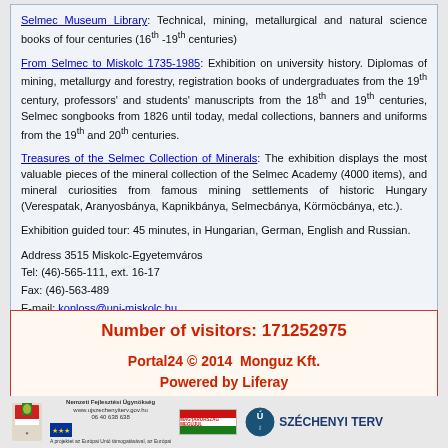Selmec Museum Library: Technical, mining, metallurgical and natural science books of four centuries (16th -19th centuries)
From Selmec to Miskolc 1735-1985: Exhibition on university history. Diplomas of mining, metallurgy and forestry, registration books of undergraduates from the 19th century, professors' and students' manuscripts from the 18th and 19th centuries, Selmec songbooks from 1826 until today, medal collections, banners and uniforms from the 19th and 20th centuries.
Treasures of the Selmec Collection of Minerals: The exhibition displays the most valuable pieces of the mineral collection of the Selmec Academy (4000 items), and mineral curiosities from famous mining settlements of historic Hungary (Verespatak, Aranyosbánya, Kapnikbánya, Selmecbánya, Körmöcbánya, etc.).
Exhibition guided tour: 45 minutes, in Hungarian, German, English and Russian.
Address 3515 Miskolc-Egyetemváros
Tel: (46)-565-111, ext. 16-17
Fax: (46)-563-489
E-mail: konloss@uni-miskolc.hu
Number of visitors: 171252975
Portal24 © 2014  Monguz Kft.
Powered by Liferay
[Figure (logo): Footer logos: Hungarian coat of arms, Nemzeti Fejlesztési Ügynökség logo, Hungary flag with MAGYARORSZÁG MEGÚJUL text, EU flag, Széchenyi Terv logo]